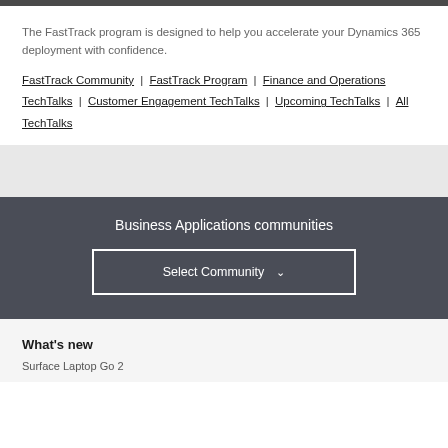The FastTrack program is designed to help you accelerate your Dynamics 365 deployment with confidence.
FastTrack Community | FastTrack Program | Finance and Operations TechTalks | Customer Engagement TechTalks | Upcoming TechTalks | All TechTalks
Business Applications communities
[Figure (other): Select Community dropdown button]
What's new
Surface Laptop Go 2